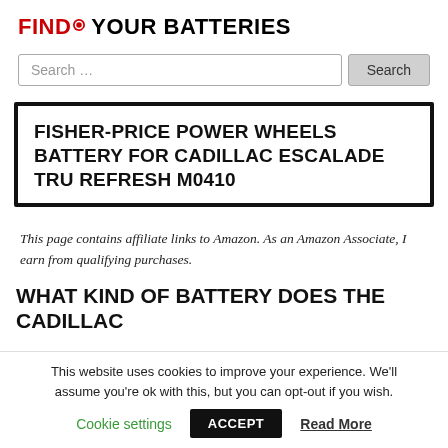FIND YOUR BATTERIES
Search ...
FISHER-PRICE POWER WHEELS BATTERY FOR CADILLAC ESCALADE TRU REFRESH M0410
This page contains affiliate links to Amazon. As an Amazon Associate, I earn from qualifying purchases.
WHAT KIND OF BATTERY DOES THE CADILLAC
This website uses cookies to improve your experience. We'll assume you're ok with this, but you can opt-out if you wish.
Cookie settings  ACCEPT  Read More